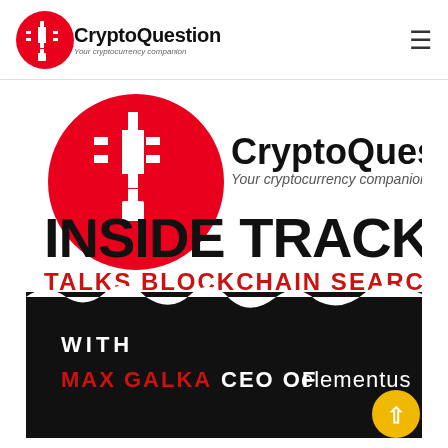CryptoQuestion — Your cryptocurrency companion
[Figure (illustration): CryptoQuestion Inside Track promotional banner. Features the CryptoQuestion logo (red circle with candlestick chart icon) and text 'CryptoQuestion / Your cryptocurrency companion' at top. Large bold black text reads 'INSIDE TRACK'. Below in red uppercase text: 'TALKS BLOCKCHAIN SEARCH ENGINES'. Lower section has a torn black paper effect with white text 'WITH' and red text 'MAX GALKA' followed by white text 'CEO OF' and the Elementus logo/wordmark. A yellow circle with upward chevron appears at bottom right.]